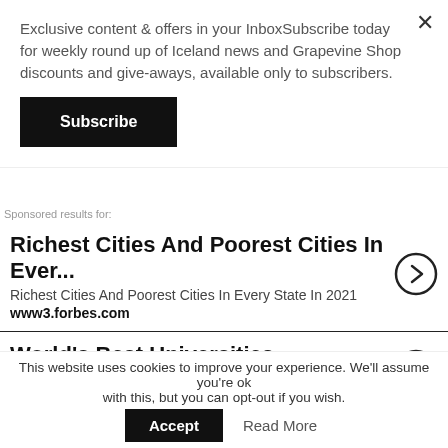Exclusive content & offers in your InboxSubscribe today for weekly round up of Iceland news and Grapevine Shop discounts and give-aways, available only to subscribers.
Subscribe
Sponsored results for:
Richest Cities And Poorest Cities In Ever...
Richest Cities And Poorest Cities In Every State In 2021
www3.forbes.com
World's Best Universities
An Expert List Of The World's Best Universities
www3.forbes.com
Popular on Grapevine
ARTICLES
This website uses cookies to improve your experience. We'll assume you're ok with this, but you can opt-out if you wish.
Accept
Read More